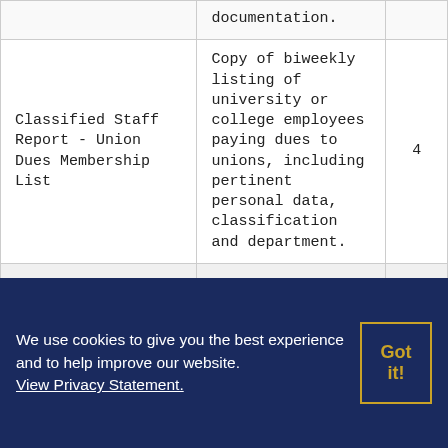| Report Name | Description | Retention |
| --- | --- | --- |
|  | documentation. |  |
| Classified Staff Report - Union Dues Membership List | Copy of biweekly listing of university or college employees paying dues to unions, including pertinent personal data, classification and department. | 4 |
| Collective Bargaining Agreements |  | A |
We use cookies to give you the best experience and to help improve our website. View Privacy Statement.
Got it!